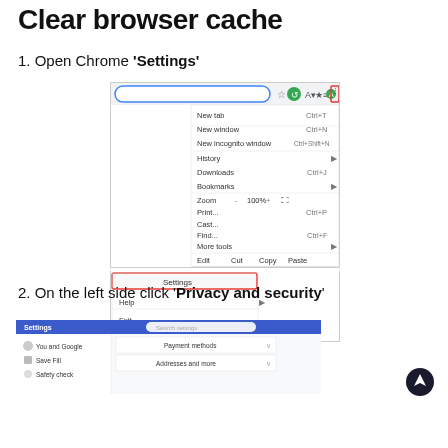Clear browser cache
1. Open Chrome 'Settings'
[Figure (screenshot): Chrome browser menu open showing options: New tab Ctrl+T, New window Ctrl+N, New incognito window Ctrl+Shift+N, History, Downloads Ctrl+J, Bookmarks, Zoom 100%, Print... Ctrl+P, Cast..., Find... Ctrl+F, More tools, Edit Cut Copy Paste, Settings (highlighted with red box), Help, Exit. The three-dot menu icon in the top right is highlighted with a red box.]
2. On the left side click 'Privacy and security'
[Figure (screenshot): Chrome Settings page showing the left sidebar with Settings header, and items including You and Google, Save fill, Safety check. The main area shows Payment methods and Addresses and more options.]